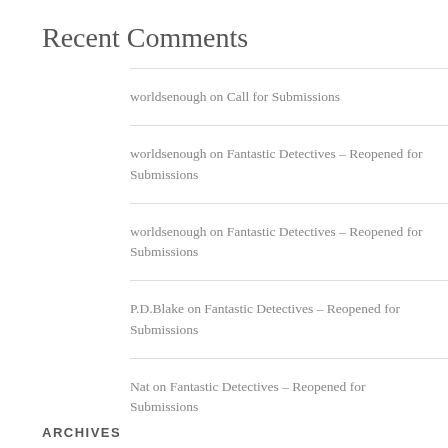Recent Comments
worldsenough on Call for Submissions
worldsenough on Fantastic Detectives – Reopened for Submissions
worldsenough on Fantastic Detectives – Reopened for Submissions
P.D.Blake on Fantastic Detectives – Reopened for Submissions
Nat on Fantastic Detectives – Reopened for Submissions
ARCHIVES